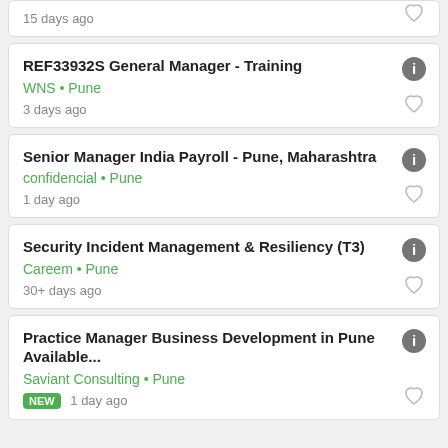15 days ago
REF33932S General Manager - Training
WNS • Pune
3 days ago
Senior Manager India Payroll - Pune, Maharashtra
confidencial • Pune
1 day ago
Security Incident Management & Resiliency (T3)
Careem • Pune
30+ days ago
Practice Manager Business Development in Pune Available...
Saviant Consulting • Pune
NEW 1 day ago